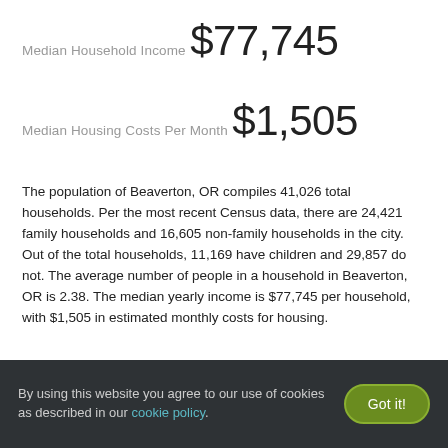Median Household Income
$77,745
Median Housing Costs Per Month
$1,505
The population of Beaverton, OR compiles 41,026 total households. Per the most recent Census data, there are 24,421 family households and 16,605 non-family households in the city. Out of the total households, 11,169 have children and 29,857 do not. The average number of people in a household in Beaverton, OR is 2.38. The median yearly income is $77,745 per household, with $1,505 in estimated monthly costs for housing.
By using this website you agree to our use of cookies as described in our cookie policy.